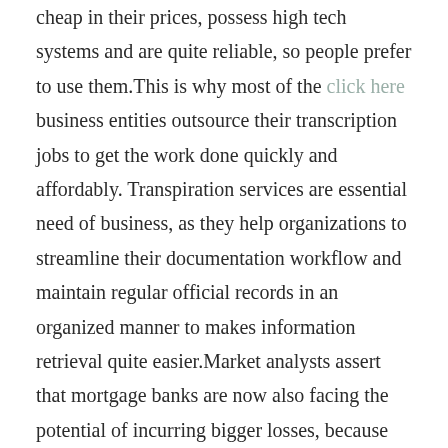cheap in their prices, possess high tech systems and are quite reliable, so people prefer to use them.This is why most of the click here business entities outsource their transcription jobs to get the work done quickly and affordably. Transpiration services are essential need of business, as they help organizations to streamline their documentation workflow and maintain regular official records in an organized manner to makes information retrieval quite easier.Market analysts assert that mortgage banks are now also facing the potential of incurring bigger losses, because many of their investors force them to buy back mortgage bonds. Numerous investors want the lenders to buy back 'put backs' worth billions of dollars in an effort to make up for the companies' misrepresentations of underlying loans' quality..Accounts receivables do not improve with age. As soon as an account approach's or exceeds the terms agreed on they